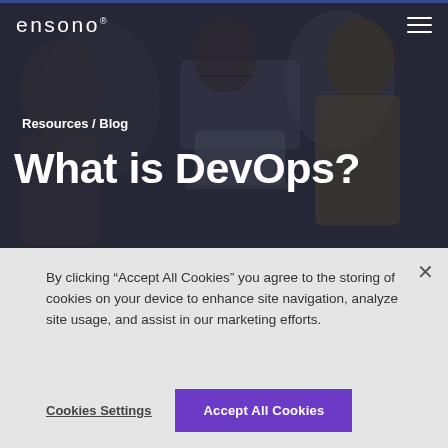[Figure (photo): Dark background photo of office workers/professionals in a meeting, with a blue-gray overlay. Part of the Ensono website hero banner.]
ensono® [hamburger menu]
Resources / Blog
What is DevOps?
By clicking “Accept All Cookies” you agree to the storing of cookies on your device to enhance site navigation, analyze site usage, and assist in our marketing efforts.
Cookies Settings  Accept All Cookies